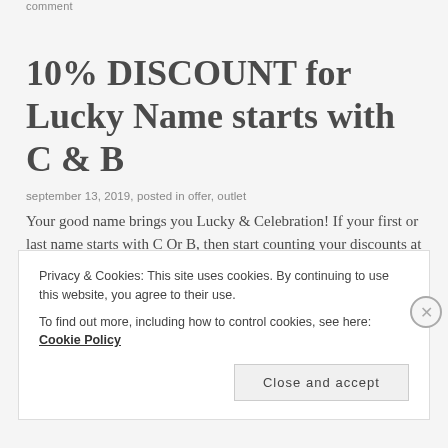comment
10% DISCOUNT for Lucky Name starts with C & B
september 13, 2019, posted in offer, outlet
Your good name brings you Lucky & Celebration! If your first or last name starts with C Or B, then start counting your discounts at Chef & Butcher - Akshayanagar Outlet. Your Lucky Name Offer: 10% Waive
Privacy & Cookies: This site uses cookies. By continuing to use this website, you agree to their use.
To find out more, including how to control cookies, see here: Cookie Policy
Close and accept